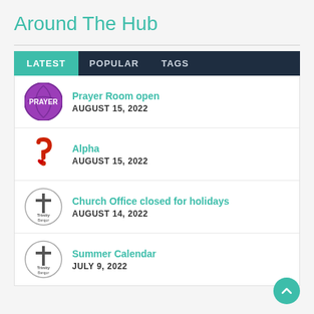Around The Hub
Prayer Room open
AUGUST 15, 2022
Alpha
AUGUST 15, 2022
Church Office closed for holidays
AUGUST 14, 2022
Summer Calendar
JULY 9, 2022